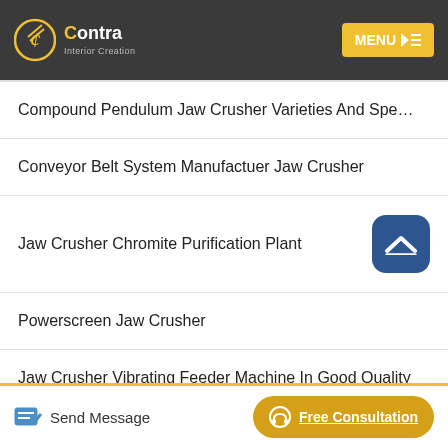Contra Interior Creation — MENU
Compound Pendulum Jaw Crusher Varieties And Spe…
Conveyor Belt System Manufactuer Jaw Crusher
Jaw Crusher Chromite Purification Plant
Powerscreen Jaw Crusher
Jaw Crusher Vibrating Feeder Machine In Good Quality
Send Message  Free Consultation